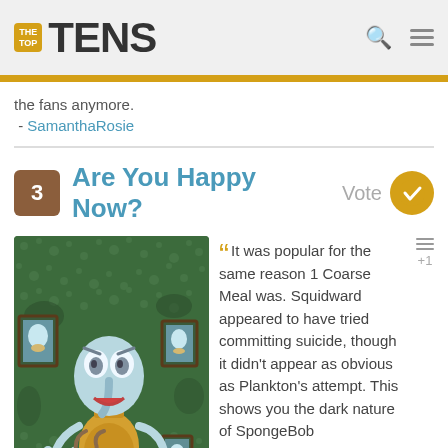TheTopTens
the fans anymore.
 - SamanthaRosie
3  Are You Happy Now?  Vote
[Figure (illustration): Squidward from SpongeBob SquarePants looking distressed, standing in a green textured room with framed pictures of himself on the wall]
It was popular for the same reason 1 Coarse Meal was. Squidward appeared to have tried committing suicide, though it didn't appear as obvious as Plankton's attempt. This shows you the dark nature of SpongeBob